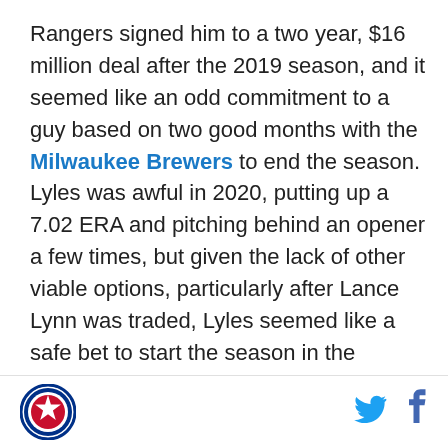Rangers signed him to a two year, $16 million deal after the 2019 season, and it seemed like an odd commitment to a guy based on two good months with the Milwaukee Brewers to end the season. Lyles was awful in 2020, putting up a 7.02 ERA and pitching behind an opener a few times, but given the lack of other viable options, particularly after Lance Lynn was traded, Lyles seemed like a safe bet to start the season in the rotation.
He may still be in the rotation, but if he is, it would apparently be in a tandem or piggyback role, which the Rangers have indicated they might use in one or two rotation spots in 2021. The Rangers could opt to pair him with a left-handed pitcher, where joining will be...
[Figure (logo): Texas Rangers circular logo with star]